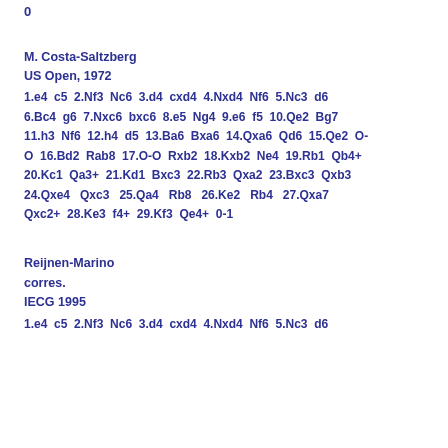0
M. Costa-Saltzberg
US Open, 1972
1.e4  c5  2.Nf3  Nc6  3.d4  cxd4  4.Nxd4  Nf6  5.Nc3  d6  6.Bc4  g6  7.Nxc6  bxc6  8.e5  Ng4  9.e6  f5  10.Qe2  Bg7  11.h3  Nf6  12.h4  d5  13.Ba6  Bxa6  14.Qxa6  Qd6  15.Qe2  O-O  16.Bd2  Rab8  17.O-O  Rxb2  18.Kxb2  Ne4  19.Rb1  Qb4+  20.Kc1  Qa3+  21.Kd1  Bxc3  22.Rb3  Qxa2  23.Bxc3  Qxb3  24.Qxe4  Qxc3  25.Qa4  Rb8  26.Ke2  Rb4  27.Qxa7  Qxc2+  28.Ke3  f4+  29.Kf3  Qe4+  0-1
Reijnen-Marino
corres.
IECG 1995
1.e4 c5 2.Nf3 Nc6 3.d4 cxd4 4.Nxd4 Nf6 5.Nc3 d6